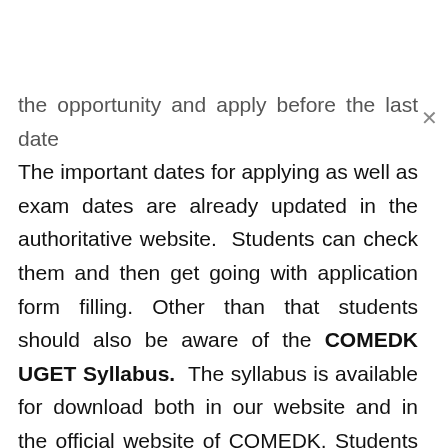the opportunity and apply before the last date The important dates for applying as well as exam dates are already updated in the authoritative website. Students can check them and then get going with application form filling. Other than that students should also be aware of the COMEDK UGET Syllabus. The syllabus is available for download both in our website and in the official website of COMEDK. Students as per their convenience and need can download the syllabus.